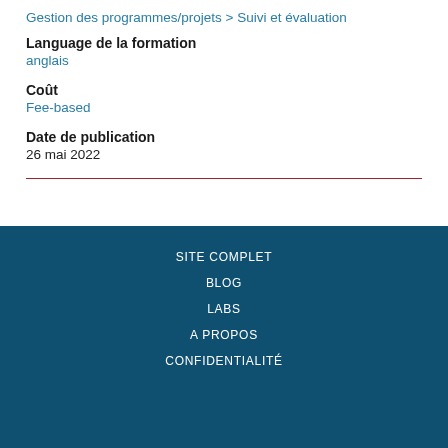Gestion des programmes/projets > Suivi et évaluation
Language de la formation
anglais
Coût
Fee-based
Date de publication
26 mai 2022
SITE COMPLET
BLOG
LABS
A PROPOS
CONFIDENTIALITÉ